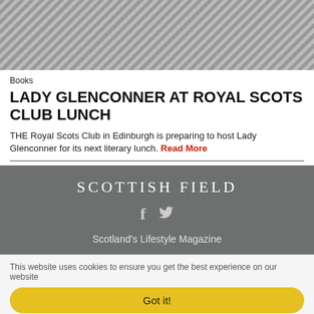[Figure (photo): Partial photo of a person seated, wearing a patterned outfit, with a wooden dresser in the background. Only lower body/hands visible.]
Books
LADY GLENCONNER AT ROYAL SCOTS CLUB LUNCH
THE Royal Scots Club in Edinburgh is preparing to host Lady Glenconner for its next literary lunch. Read More
[Figure (logo): SCOTTISH FIELD logo with social media icons (Facebook, Twitter) and tagline Scotland's Lifestyle Magazine on grey background]
This website uses cookies to ensure you get the best experience on our website
Got it!